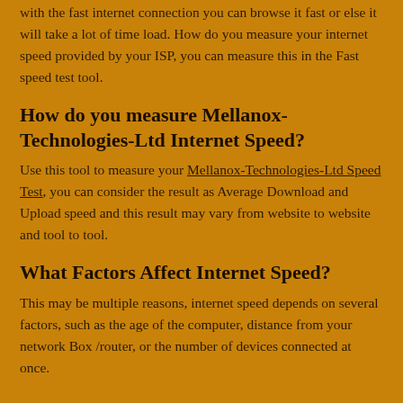with the fast internet connection you can browse it fast or else it will take a lot of time load. How do you measure your internet speed provided by your ISP, you can measure this in the Fast speed test tool.
How do you measure Mellanox-Technologies-Ltd Internet Speed?
Use this tool to measure your Mellanox-Technologies-Ltd Speed Test, you can consider the result as Average Download and Upload speed and this result may vary from website to website and tool to tool.
What Factors Affect Internet Speed?
This may be multiple reasons, internet speed depends on several factors, such as the age of the computer, distance from your network Box /router, or the number of devices connected at once.